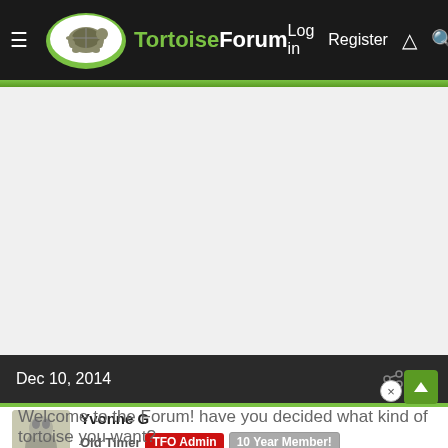TortoiseForum — Log in  Register
[Figure (screenshot): Advertisement or blank content area]
Dec 10, 2014  #2
Yvonne G
Old Timer  TFO Admin  10 Year Member!
Platinum Tortoise Club
Welcome to the Forum! have you decided what kind of tortoise you want?